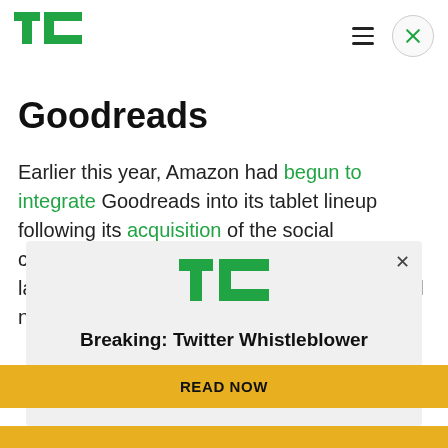TechCrunch
Goodreads
Earlier this year, Amazon had begun to integrate Goodreads into its tablet lineup following its acquisition of the social community for roughly $150 million. But in the latest Fire OS release (version 3.1), the social network has now been integrated directly into the reading...
[Figure (screenshot): TechCrunch promotional ad overlay with TC logo, headline 'Breaking: Twitter Whistleblower', and a yellow 'READ NOW' button. A close (×) button is in the top right of the overlay.]